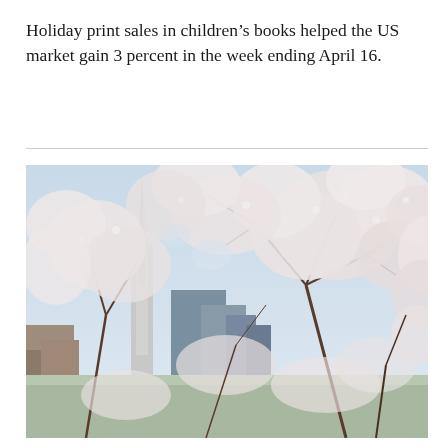Holiday print sales in children's books helped the US market gain 3 percent in the week ending April 16.
[Figure (photo): Photograph of cherry blossom trees in full white bloom with the New York City skyline including the Empire State Building visible in the background against a pale sky.]